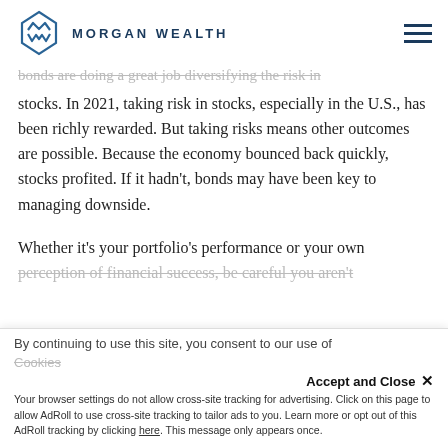MORGAN WEALTH
bonds are doing a great job diversifying the risk in stocks. In 2021, taking risk in stocks, especially in the U.S., has been richly rewarded. But taking risks means other outcomes are possible. Because the economy bounced back quickly, stocks profited. If it hadn't, bonds may have been key to managing downside.
Whether it's your portfolio's performance or your own perception of financial success, be careful you aren't
By continuing to use this site, you consent to our use of Cookies. Accept and Close × Your browser settings do not allow cross-site tracking for advertising. Click on this page to allow AdRoll to use cross-site tracking to tailor ads to you. Learn more or opt out of this AdRoll tracking by clicking here. This message only appears once.